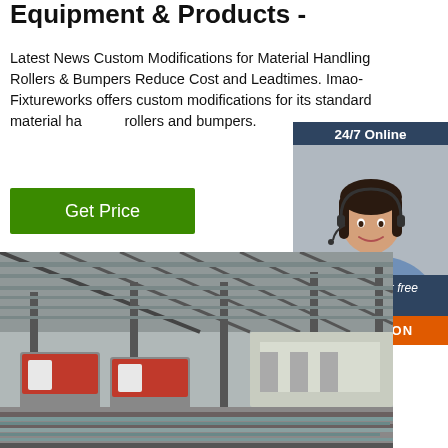Equipment & Products -
Latest News Custom Modifications for Material Handling Rollers & Bumpers Reduce Cost and Leadtimes. Imao-Fixtureworks offers custom modifications for its standard material handling rollers and bumpers.
Get Price
[Figure (infographic): Customer service widget: dark navy blue panel showing '24/7 Online' header, photo of a woman wearing a headset and smiling, text 'Click here for free chat!', and an orange QUOTATION button below.]
[Figure (photo): Interior of a large industrial factory/warehouse with red material handling machines on rails, metal structural beams, and steel products on the floor.]